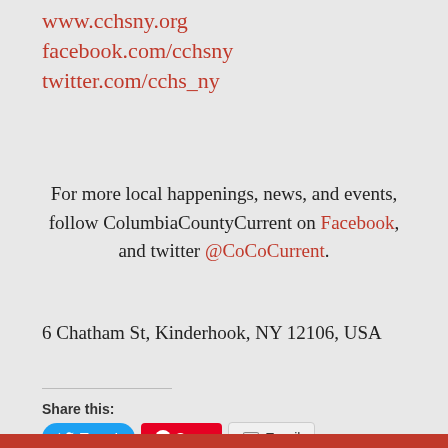www.cchsny.org
facebook.com/cchsny
twitter.com/cchs_ny
For more local happenings, news, and events, follow ColumbiaCountyCurrent on Facebook, and twitter @CoCoCurrent.
6 Chatham St, Kinderhook, NY 12106, USA
Share this:
Tweet | Save | Email
Like
Be the first to like this.